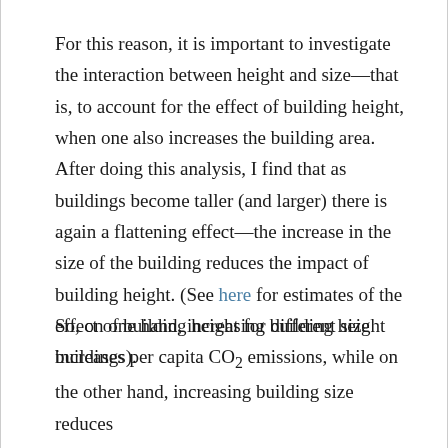For this reason, it is important to investigate the interaction between height and size—that is, to account for the effect of building height, when one also increases the building area. After doing this analysis, I find that as buildings become taller (and larger) there is again a flattening effect—the increase in the size of the building reduces the impact of building height. (See here for estimates of the effect of building height for different size buildings).
So, on one hand, increasing building height increases per capita CO₂ emissions, while on the other hand, increasing building size reduces